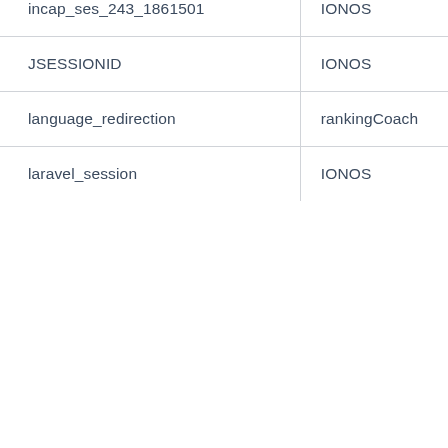| Cookie Name | Provider |
| --- | --- |
| incap_ses_243_1861501 | IONOS |
| JSESSIONID | IONOS |
| language_redirection | rankingCoach |
| laravel_session | IONOS |